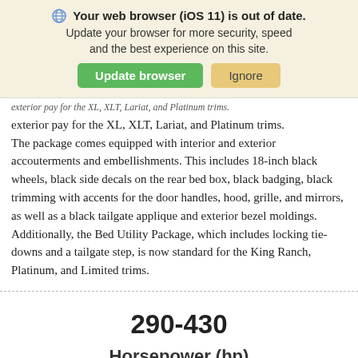[Figure (screenshot): Browser update notification banner with globe icon, bold warning text, green 'Update browser' button and tan 'Ignore' button on a light yellow/cream background]
exterior pay for the XL, XLT, Lariat, and Platinum trims. The package comes equipped with interior and exterior accouterments and embellishments. This includes 18-inch black wheels, black side decals on the rear bed box, black badging, black trimming with accents for the door handles, hood, grille, and mirrors, as well as a black tailgate applique and exterior bezel moldings. Additionally, the Bed Utility Package, which includes locking tie-downs and a tailgate step, is now standard for the King Ranch, Platinum, and Limited trims.
290-430
Horsepower (hp)